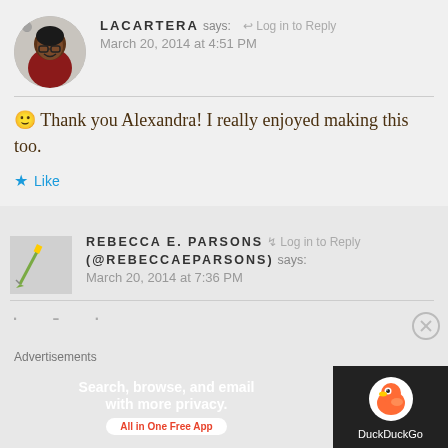LACARTERA says: ← Log in to Reply
March 20, 2014 at 4:51 PM
🙂 Thank you Alexandra! I really enjoyed making this too.
★ Like
REBECCA E. PARSONS (@REBECCAEPARSONS) says: Log in to Reply
March 20, 2014 at 7:36 PM
· - ·
Advertisements
[Figure (screenshot): DuckDuckGo advertisement banner: Search, browse, and email with more privacy. All in One Free App. DuckDuckGo logo on dark background on the right.]